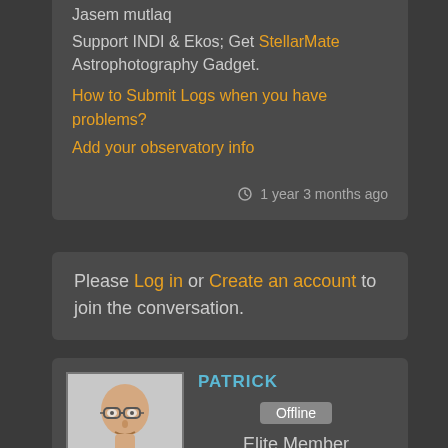Jasem Mutlaq
Support INDI & Ekos; Get StellarMate Astrophotography Gadget.
How to Submit Logs when you have problems?
Add your observatory info
1 year 3 months ago
Please Log in or Create an account to join the conversation.
[Figure (photo): Profile photo of Patrick, a middle-aged man with glasses and dark jacket]
TOPIC AUTHOR
PATRICK
Offline
Elite Member
★★★★☆ (4 out of 5 stars)